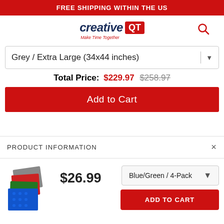FREE SHIPPING WITHIN THE US
[Figure (logo): Creative QT logo — 'creative' in dark blue italic, 'QT' in white on red box, tagline 'Make Time Together' in red italic below]
Grey / Extra Large (34x44 inches)
Total Price: $229.97 $258.97
Add to Cart
PRODUCT INFORMATION
[Figure (photo): Stack of colorful LEGO baseplates in blue, green, red, and grey]
$26.99
Blue/Green / 4-Pack
ADD TO CART